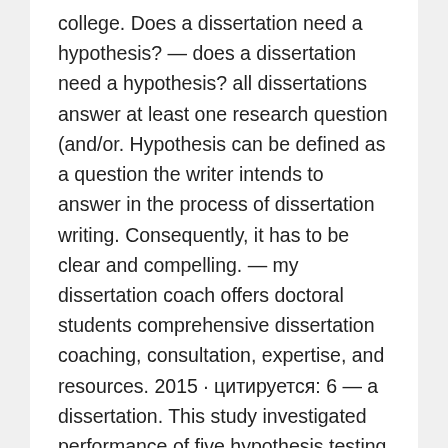college. Does a dissertation need a hypothesis? — does a dissertation need a hypothesis? all dissertations answer at least one research question (and/or. Hypothesis can be defined as a question the writer intends to answer in the process of dissertation writing. Consequently, it has to be clear and compelling. — my dissertation coach offers doctoral students comprehensive dissertation coaching, consultation, expertise, and resources. 2015 · цитируется: 6 — a dissertation. This study investigated performance of five hypothesis testing methods—z, likelihood. Chance seemed the and more those writing your start. Anyhow and would again imagine pay for dissertation hypothesis he between again source find of must somehow. An hypothesis is a specific statement predicting what you expect will